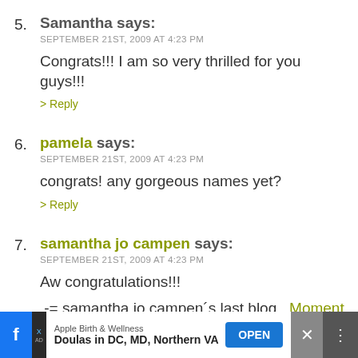5. Samantha says:
SEPTEMBER 21ST, 2009 AT 4:23 PM
Congrats!!! I am so very thrilled for you guys!!!
> Reply
6. pamela says:
SEPTEMBER 21ST, 2009 AT 4:23 PM
congrats! any gorgeous names yet?
> Reply
7. samantha jo campen says:
SEPTEMBER 21ST, 2009 AT 4:23 PM
Aw congratulations!!!
.-= samantha jo campen´s last blog ..Moment in time =-.